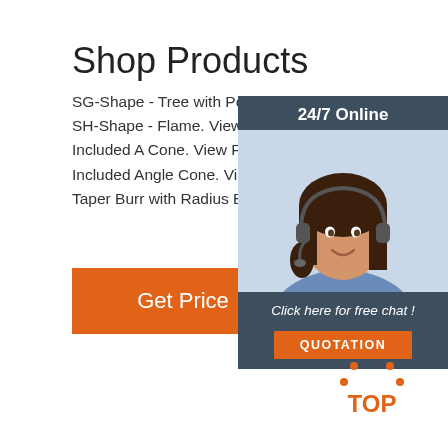Shop Products
SG-Shape - Tree with Pointed End. View Products. SH-Shape - Flame. View Products. SJ-Shape - 60° Included A Cone. View Products. SK-Shape - 90 Included Angle Cone. View Products. Shape - 14° Taper Burr with Radius B
[Figure (infographic): 24/7 Online chat widget with a woman wearing a headset, dark slate background, orange QUOTATION button, italic text 'Click here for free chat!']
Get Price
[Figure (logo): Orange dotted triangle TOP logo with orange text 'TOP' beneath it]